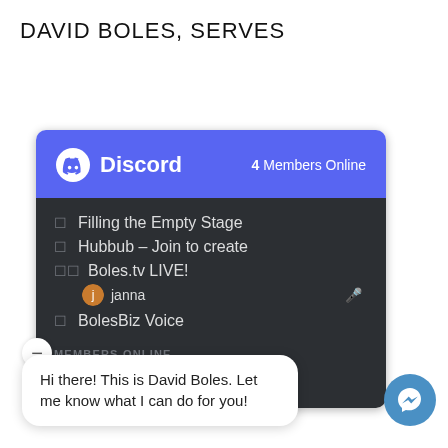DAVID BOLES, SERVES
[Figure (screenshot): Discord widget showing 4 Members Online, channels: Filling the Empty Stage, Hubbub - Join to create, Boles.tv LIVE! (with user janna), BolesBiz Voice. Members Online section shows bolesbrand. A chat bubble reads: Hi there! This is David Boles. Let me know what I can do for you! A Facebook Messenger icon appears in the bottom right.]